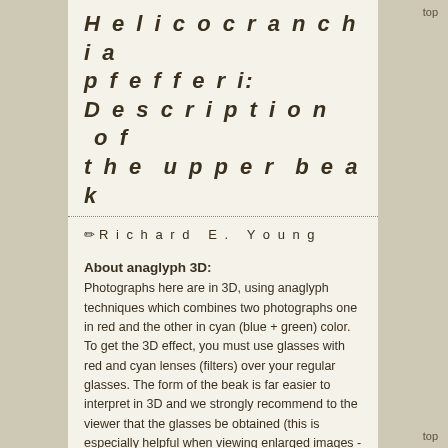Helicocranchia pfefferi: Description of the upper beak
✏ Richard E. Young
About anaglyph 3D:
Photographs here are in 3D, using anaglyph techniques which combines two photographs one in red and the other in cyan (blue + green) color. To get the 3D effect, you must use glasses with red and cyan lenses (filters) over your regular glasses. The form of the beak is far easier to interpret in 3D and we strongly recommend to the viewer that the glasses be obtained (this is especially helpful when viewing enlarged images - i.e. click on the image). These beak photographs were made using Red and Cyan Anachrome Aviator Glasses (see: http://www.anachrome.com/glassbuy.htm or http://www.amazon.com) which cost under $10.00 (USD).
top